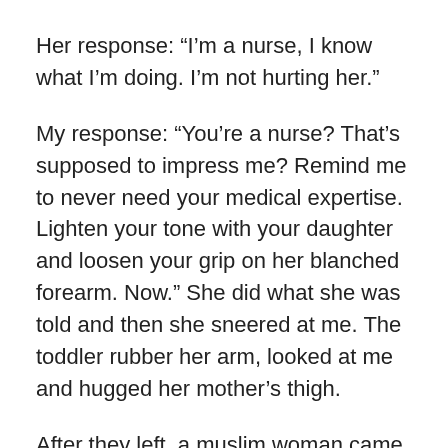Her response: “I’m a nurse, I know what I’m doing. I’m not hurting her.”
My response: “You’re a nurse? That’s supposed to impress me? Remind me to never need your medical expertise. Lighten your tone with your daughter and loosen your grip on her blanched forearm. Now.” She did what she was told and then she sneered at me. The toddler rubber her arm, looked at me and hugged her mother’s thigh.
After they left, a muslim woman came up to me later and told me she would pray for me because she wished I was there for her when she was that young girl and her mother slapped her across the face and into the next room. She showed me the scar on her cheek from the ring that cut her. I tensely smiled and nodded almost imperceptibly; I